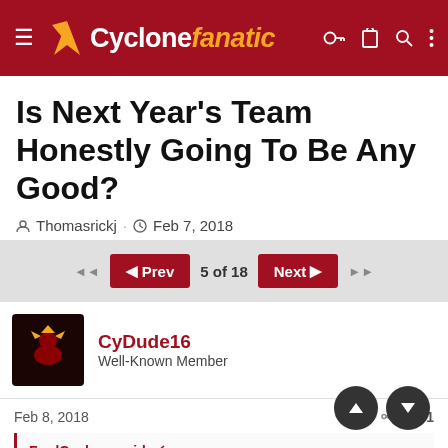Cyclone fanatic
Is Next Year’s Team Honestly Going To Be Any Good?
Thomasrickj · Feb 7, 2018
5 of 18
CyDude16
Well-Known Member
Feb 8, 2018  #81
FredCyclone said:
I am just preparing the fan base for the Prohm Era. Years of mediocrity awaiting the fan base.......